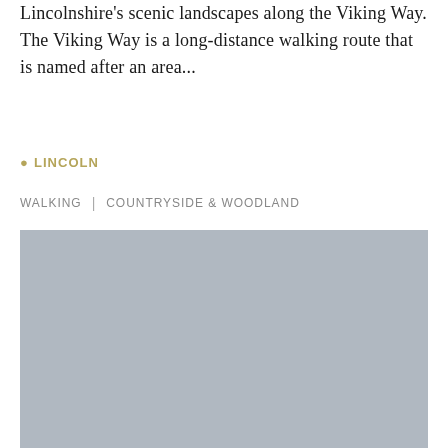Lincolnshire's scenic landscapes along the Viking Way. The Viking Way is a long-distance walking route that is named after an area...
📍 LINCOLN
WALKING | COUNTRYSIDE & WOODLAND
[Figure (photo): A large grey placeholder image representing a photo of the Viking Way or Lincolnshire countryside.]